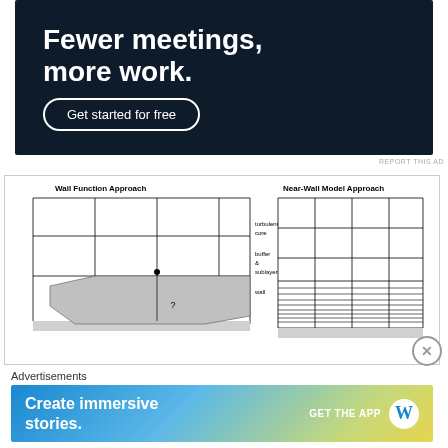[Figure (infographic): Advertisement banner with dark navy background showing text 'Fewer meetings, more work.' and a 'Get started for free' button]
REPORT THIS AD
[Figure (engineering-diagram): Side-by-side diagram comparing Wall Function Approach (left, coarse grid with shaded geometry labeled '?' and a dot marker, with layer labels: turbulent core, buffer & sublayer, wall) and Near-Wall Model Approach (right, fine grid with closely spaced horizontal lines near the wall region)]
Advertisements
[Figure (infographic): WordPress advertisement banner with gradient blue-green-yellow background showing 'Create immersive stories.' and 'GET THE APP' with WordPress logo]